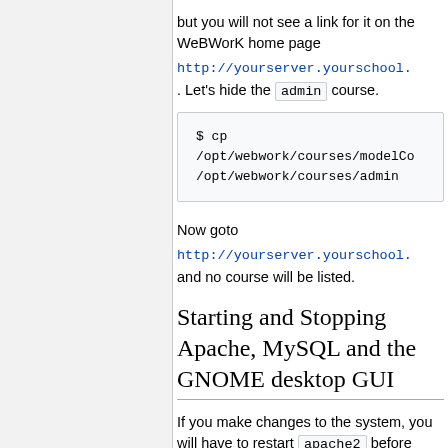but you will not see a link for it on the WeBWorK home page http://yourserver.yourschool.. Let's hide the admin course.
$ cp
/opt/webwork/courses/modelCo
/opt/webwork/courses/admin
Now goto http://yourserver.yourschool. and no course will be listed.
Starting and Stopping Apache, MySQL and the GNOME desktop GUI
If you make changes to the system, you will have to restart apache2 before